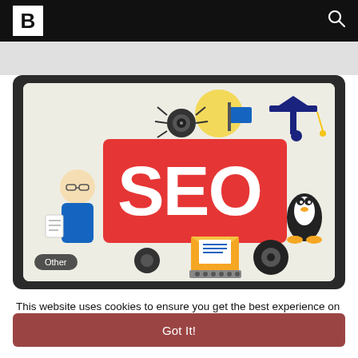B [logo] [search icon]
[Figure (illustration): SEO illustration: a large red sign with white bold text 'SEO' is at the center. Around it are cartoon characters and elements including a graduation cap (upper right), a penguin (right), a person with glasses (left), a typewriter/envelope (lower center), documents, a spider/camera, and other SEO-related icons. Background is light cream/white. The image is inside a dark rounded rectangle frame. An 'Other' badge is in the lower-left corner of the image.]
This website uses cookies to ensure you get the best experience on our website. Learn More
Got It!